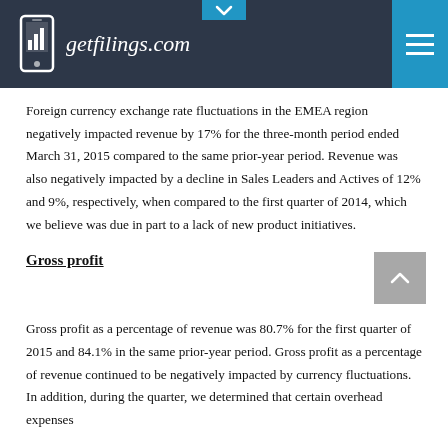getfilings.com
Foreign currency exchange rate fluctuations in the EMEA region negatively impacted revenue by 17% for the three-month period ended March 31, 2015 compared to the same prior-year period. Revenue was also negatively impacted by a decline in Sales Leaders and Actives of 12% and 9%, respectively, when compared to the first quarter of 2014, which we believe was due in part to a lack of new product initiatives.
Gross profit
Gross profit as a percentage of revenue was 80.7% for the first quarter of 2015 and 84.1% in the same prior-year period. Gross profit as a percentage of revenue continued to be negatively impacted by currency fluctuations. In addition, during the quarter, we determined that certain overhead expenses